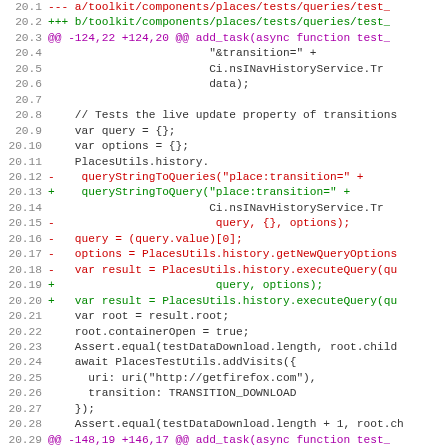Code diff snippet showing changes to toolkit/components/places/tests/queries/test file, lines 20.1 through 20.32